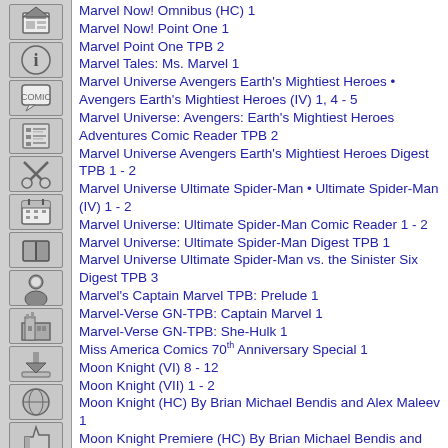Marvel Now! Omnibus (HC) 1
Marvel Now! Point One 1
Marvel Point One TPB 2
Marvel Tales: Ms. Marvel 1
Marvel Universe Avengers Earth's Mightiest Heroes • Avengers Earth's Mightiest Heroes (IV) 1, 4 - 5
Marvel Universe: Avengers: Earth's Mightiest Heroes Adventures Comic Reader TPB 2
Marvel Universe Avengers Earth's Mightiest Heroes Digest TPB 1 - 2
Marvel Universe Ultimate Spider-Man • Ultimate Spider-Man (IV) 1 - 2
Marvel Universe: Ultimate Spider-Man Comic Reader 1 - 2
Marvel Universe: Ultimate Spider-Man Digest TPB 1
Marvel Universe Ultimate Spider-Man vs. the Sinister Six Digest TPB 3
Marvel's Captain Marvel TPB: Prelude 1
Marvel-Verse GN-TPB: Captain Marvel 1
Marvel-Verse GN-TPB: She-Hulk 1
Miss America Comics 70th Anniversary Special 1
Moon Knight (VI) 8 - 12
Moon Knight (VII) 1 - 2
Moon Knight (HC) By Brian Michael Bendis and Alex Maleev 1
Moon Knight Premiere (HC) By Brian Michael Bendis and Alex Maleev 2
Moon Knight TPB (II) 1
Moon Knight TPB By Bendis and Maleev: The Complete